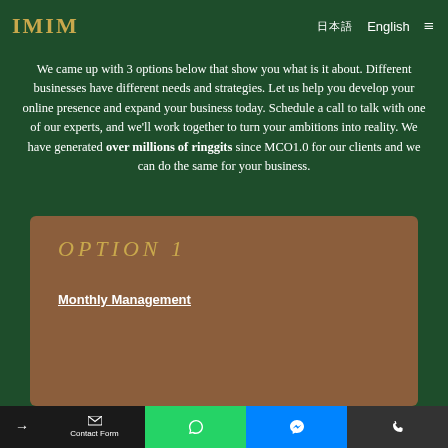IMIM | 日本語 | English | Menu
We came up with 3 options below that show you what is it about. Different businesses have different needs and strategies. Let us help you develop your online presence and expand your business today. Schedule a call to talk with one of our experts, and we'll work together to turn your ambitions into reality. We have generated over millions of ringgits since MCO1.0 for our clients and we can do the same for your business.
OPTION 1
Monthly Management
Contact Form | WhatsApp | Messenger | Phone